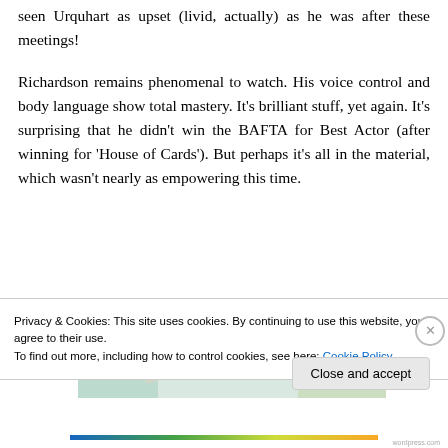seen Urquhart as upset (livid, actually) as he was after these meetings!
Richardson remains phenomenal to watch. His voice control and body language show total mastery. It's brilliant stuff, yet again. It's surprising that he didn't win the BAFTA for Best Actor (after winning for 'House of Cards'). But perhaps it's all in the material, which wasn't nearly as empowering this time.
[Figure (other): Advertisement banner image with colorful decorative objects and a 'Learn more' button]
Privacy & Cookies: This site uses cookies. By continuing to use this website, you agree to their use.
To find out more, including how to control cookies, see here: Cookie Policy
Close and accept